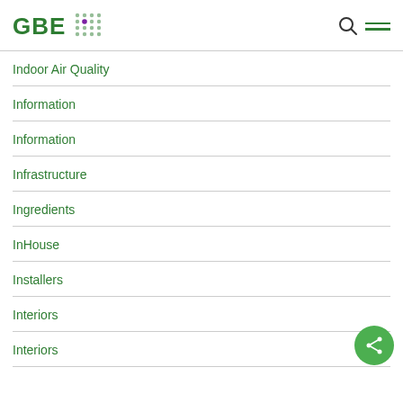GBE
Indoor Air Quality
Information
Information
Infrastructure
Ingredients
InHouse
Installers
Interiors
Interiors